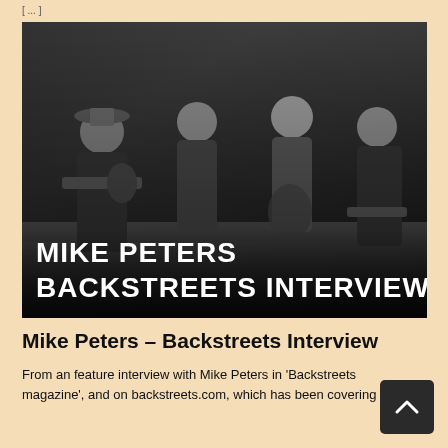[Figure (photo): Black and white photo of four musicians playing guitars on stage with curtain backdrop, overlaid with text 'MIKE PETERS BACKSTREETS INTERVIEW']
Mike Peters – Backstreets Interview
From an feature interview with Mike Peters in 'Backstreets magazine', and on backstreets.com, which has been covering